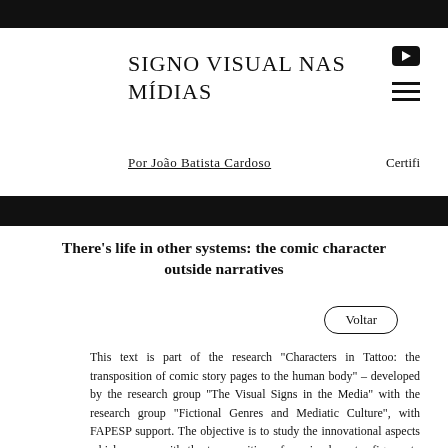SIGNO VISUAL NAS MÍDIAS
Por João Batista Cardoso
Certifi
There's life in other systems: the comic character outside narratives
Voltar
This text is part of the research "Characters in Tattoo: the transposition of comic story pages to the human body" – developed by the research group "The Visual Signs in the Media" with the research group "Fictional Genres and Mediatic Culture", with FAPESP support. The objective is to study the innovational aspects which appear with the transposition of comic character figures to tattoos. The present article intends to delineate the main characteristics of comic characters whose main trait unlike that of characters from literature, theatre or cinema, is visuality. To define this specific kind of visual representation we will resort to texts from the